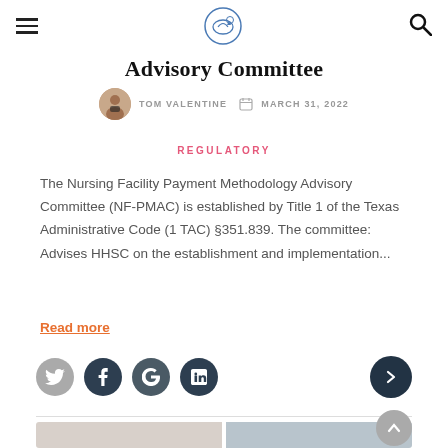Advisory Committee
TOM VALENTINE   MARCH 31, 2022
REGULATORY
The Nursing Facility Payment Methodology Advisory Committee (NF-PMAC) is established by Title 1 of the Texas Administrative Code (1 TAC) §351.839. The committee: Advises HHSC on the establishment and implementation...
Read more
[Figure (other): Bottom partial image strip showing blurred background photos]